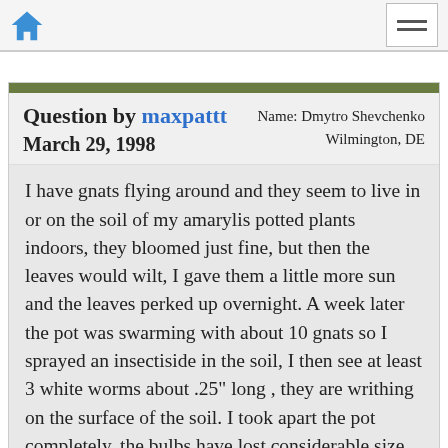Home | Menu
Question by maxpattt
March 29, 1998
Name: Dmytro Shevchenko
Wilmington, DE
I have gnats flying around and they seem to live in or on the soil of my amarylis potted plants indoors, they bloomed just fine, but then the leaves would wilt, I gave them a little more sun and the leaves perked up overnight. A week later the pot was swarming with about 10 gnats so I sprayed an insectiside in the soil, I then see at least 3 white worms about .25" long , they are writhing on the surface of the soil. I took apart the pot completely, the bulbs have lost considerable size and one was soft. What's happening?